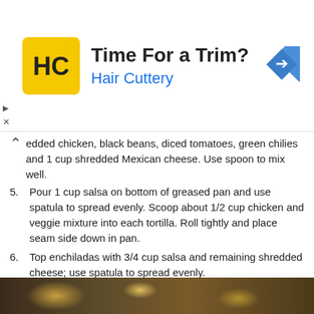[Figure (other): Hair Cuttery advertisement banner with yellow HC logo, text 'Time For a Trim?' and 'Hair Cuttery', blue diamond arrow icon on right]
edded chicken, black beans, diced tomatoes, green chilies and 1 cup shredded Mexican cheese. Use spoon to mix well.
5. Pour 1 cup salsa on bottom of greased pan and use spatula to spread evenly. Scoop about 1/2 cup chicken and veggie mixture into each tortilla. Roll tightly and place seam side down in pan.
6. Top enchiladas with 3/4 cup salsa and remaining shredded cheese; use spatula to spread evenly.
7. Cover pan tightly with foil and bake 25-30 minutes. Remove from oven; serve hot. Add avocado, yogurt and cilantro, if desired.
Source:  ALDI
Read more...
[Figure (photo): Food photo strip at bottom of page showing dishes/bowls]